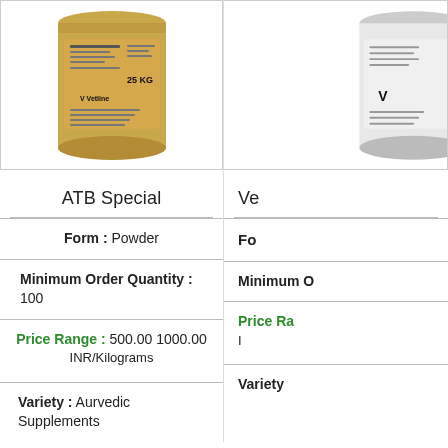[Figure (photo): Gold/tan colored Vetline 25 KG powder container on white background]
[Figure (photo): White Vetline container, partially visible on right side]
ATB Special
Ve
Form : Powder
Fo
Minimum Order Quantity : 100
Minimum O
Price Range : 500.00 1000.00 INR/Kilograms
Price Ra
Variety : Aurvedic Supplements
Variety